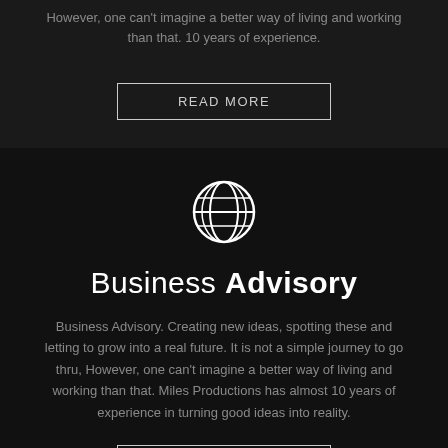However, one can't imagine a better way of living and working than that. 10 years of experience.
READ MORE
[Figure (illustration): White globe/world icon on dark background]
Business Advisory
Business Advisory. Creating new ideas, spotting these and letting to grow into a real future. It is not a simple journey to go thru, However, one can't imagine a better way of living and working than that. Miles Productions has almost 10 years of experience in turning good ideas into reality.
READ MORE